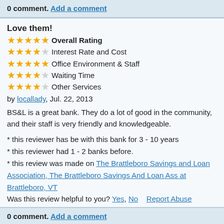0 comment. Add a comment
Love them!
⭐⭐⭐⭐⭐ Overall Rating
⭐⭐⭐⭐☆ Interest Rate and Cost
⭐⭐⭐⭐⭐ Office Environment & Staff
⭐⭐⭐⭐☆ Waiting Time
⭐⭐⭐⭐☆ Other Services
by locallady, Jul. 22, 2013
BS&L is a great bank. They do a lot of good in the community, and their staff is very friendly and knowledgeable.
* this reviewer has be with this bank for 3 - 10 years
* this reviewer had 1 - 2 banks before.
* this review was made on The Brattleboro Savings and Loan Association, The Brattleboro Savings And Loan Ass at Brattleboro, VT
Was this review helpful to you? Yes, No   Report Abuse
0 comment. Add a comment